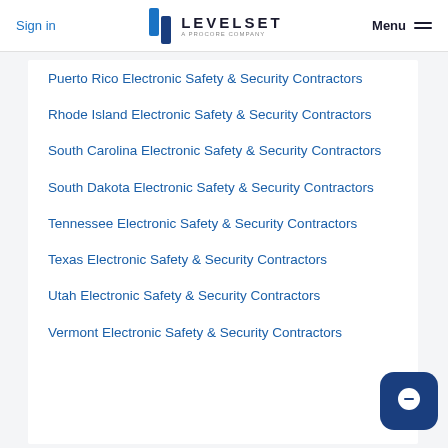Sign in | LEVELSET A PROCORE COMPANY | Menu
Puerto Rico Electronic Safety & Security Contractors
Rhode Island Electronic Safety & Security Contractors
South Carolina Electronic Safety & Security Contractors
South Dakota Electronic Safety & Security Contractors
Tennessee Electronic Safety & Security Contractors
Texas Electronic Safety & Security Contractors
Utah Electronic Safety & Security Contractors
Vermont Electronic Safety & Security Contractors